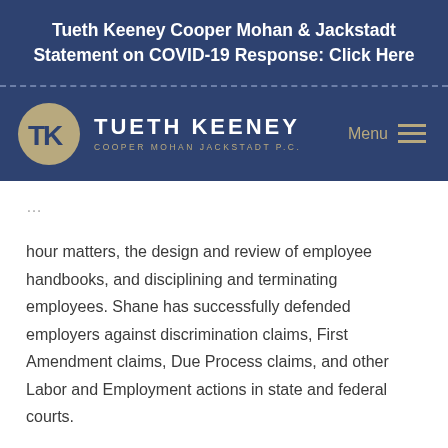Tueth Keeney Cooper Mohan & Jackstadt Statement on COVID-19 Response: Click Here
[Figure (logo): Tueth Keeney Cooper Mohan Jackstadt P.C. logo with circular TK monogram and firm name text, with Menu hamburger icon on right, on dark navy background]
hour matters, the design and review of employee handbooks, and disciplining and terminating employees. Shane has successfully defended employers against discrimination claims, First Amendment claims, Due Process claims, and other Labor and Employment actions in state and federal courts.
Shane also practices in the area of collective bargaining and labor